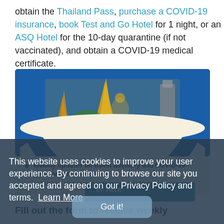obtain the Thailand Pass, purchase a COVID-19 insurance, book Test and Go Hotel for 1 night, or an ASQ Hotel for the 10-day quarantine (if not vaccinated), and obtain a COVID-19 medical certificate.
[Figure (photo): Banner image showing Thai temples and a blue circular design with travel/COVID-19 information bullets. Includes bullet points: 'Weekly updates on travel advisory and COVID-19 government restrictions' and 'Concise and easy way to get updated information'. Also contains a teal button partially visible and bottom text 'Fill out the form to receive weekly'.]
This website uses cookies to improve your user experience. By continuing to browse our site you accepted and agreed on our Privacy Policy and terms. Learn More
Got it!
Fill out the form to receive weekly